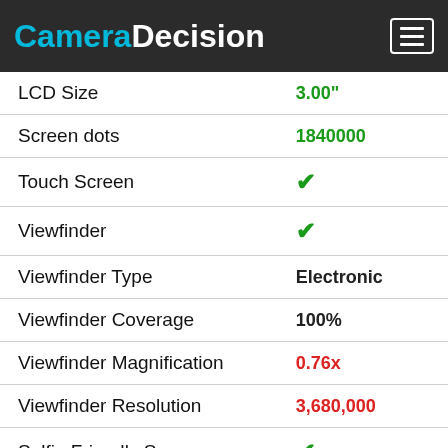CameraDecision
| Feature | Value |
| --- | --- |
| LCD Size | 3.00" |
| Screen dots | 1840000 |
| Touch Screen | ✓ |
| Viewfinder | ✓ |
| Viewfinder Type | Electronic |
| Viewfinder Coverage | 100% |
| Viewfinder Magnification | 0.76x |
| Viewfinder Resolution | 3,680,000 |
| Selfie Friendly Screen | ✓ |
| High Resolution Mode | ✗ |